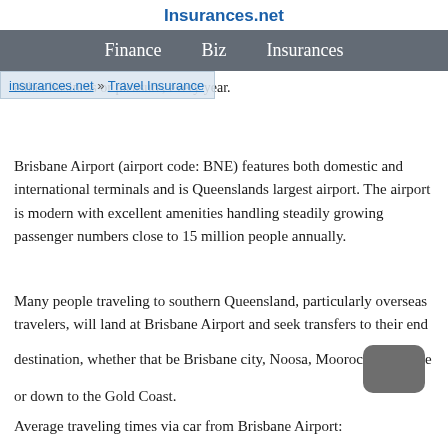Insurances.net
Finance   Biz   Insurances
insurances.net » Travel Insurance
either business or pleasure, every year.
Brisbane Airport (airport code: BNE) features both domestic and international terminals and is Queenslands largest airport. The airport is modern with excellent amenities handling steadily growing passenger numbers close to 15 million people annually.
Many people traveling to southern Queensland, particularly overseas travelers, will land at Brisbane Airport and seek transfers to their end destination, whether that be Brisbane city, Noosa, Mooroochydore or down to the Gold Coast.
Average traveling times via car from Brisbane Airport: